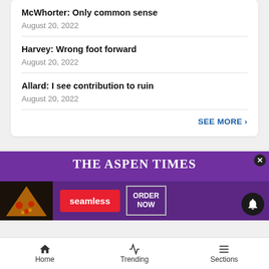McWhorter: Only common sense
August 20, 2022
Harvey: Wrong foot forward
August 20, 2022
Allard: I see contribution to ruin
August 20, 2022
SEE MORE ›
[Figure (screenshot): Advertisement banner for The Aspen Times featuring seamless food delivery ordering with pizza image, seamless logo in red, and ORDER NOW button in a bordered box. Purple background with white serif title text.]
Home   Trending   Sections